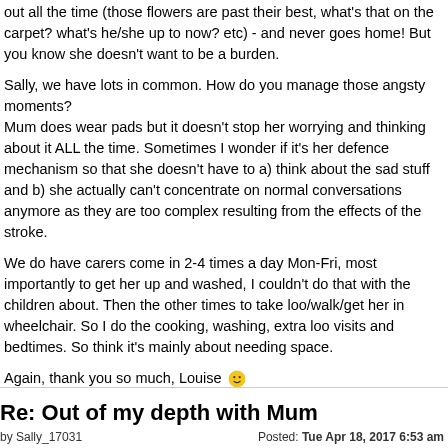out all the time (those flowers are past their best, what's that on the carpet? what's he/she up to now? etc) - and never goes home! But you know she doesn't want to be a burden.
Sally, we have lots in common. How do you manage those angsty moments?
Mum does wear pads but it doesn't stop her worrying and thinking about it ALL the time. Sometimes I wonder if it's her defence mechanism so that she doesn't have to a) think about the sad stuff and b) she actually can't concentrate on normal conversations anymore as they are too complex resulting from the effects of the stroke.
We do have carers come in 2-4 times a day Mon-Fri, most importantly to get her up and washed, I couldn't do that with the children about. Then the other times to take loo/walk/get her in wheelchair. So I do the cooking, washing, extra loo visits and bedtimes. So think it's mainly about needing space.
Again, thank you so much, Louise 🙂
Re: Out of my depth with Mum
by Sally_17031   Posted: Tue Apr 18, 2017 6:53 am